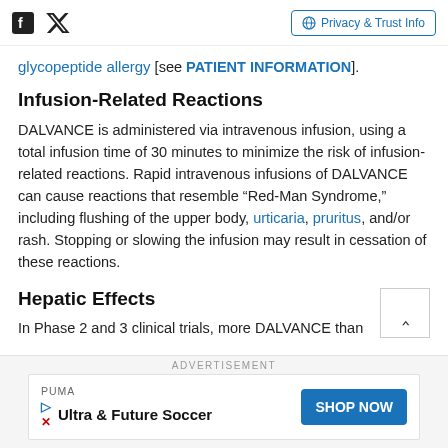Facebook Twitter | Privacy & Trust Info
glycopeptide allergy [see PATIENT INFORMATION].
Infusion-Related Reactions
DALVANCE is administered via intravenous infusion, using a total infusion time of 30 minutes to minimize the risk of infusion-related reactions. Rapid intravenous infusions of DALVANCE can cause reactions that resemble “Red-Man Syndrome,” including flushing of the upper body, urticaria, pruritus, and/or rash. Stopping or slowing the infusion may result in cessation of these reactions.
Hepatic Effects
In Phase 2 and 3 clinical trials, more DALVANCE than
[Figure (other): Advertisement banner: PUMA Ultra & Future Soccer with SHOP NOW button]